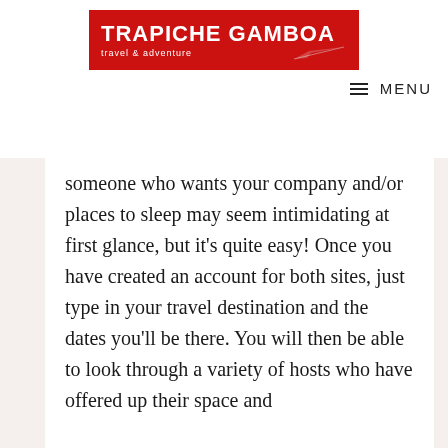[Figure (logo): Trapiche Gamboa travel & adventure logo — red banner with white bold text and airplane graphic]
≡ MENU
someone who wants your company and/or places to sleep may seem intimidating at first glance, but it's quite easy! Once you have created an account for both sites, just type in your travel destination and the dates you'll be there. You will then be able to look through a variety of hosts who have offered up their space and